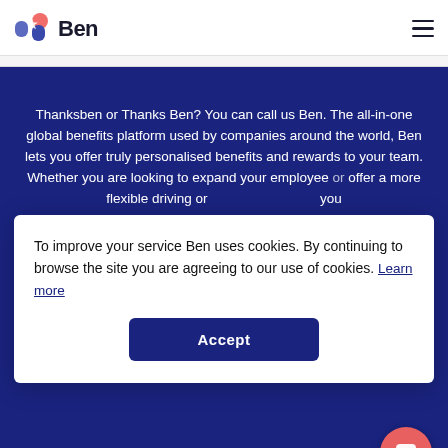[Figure (logo): Ben logo: colorful geometric icon with blue and pink shapes, followed by bold 'Ben' text]
Thanksben or Thanks Ben? You can call us Ben. The all-in-one global benefits platform used by companies around the world, Ben lets you offer truly personalised benefits and rewards to your team. Whether you are looking to expand your employee or
To improve your service Ben uses cookies. By continuing to browse the site you are agreeing to our use of cookies. Learn more
Accept